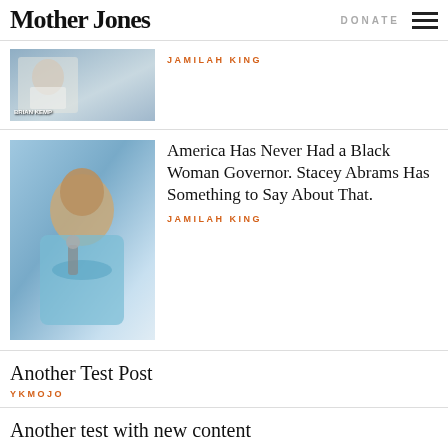Mother Jones | DONATE
JAMILAH KING
America Has Never Had a Black Woman Governor. Stacey Abrams Has Something to Say About That.
JAMILAH KING
Another Test Post
YKMOJO
Another test with new content
YKMOJO